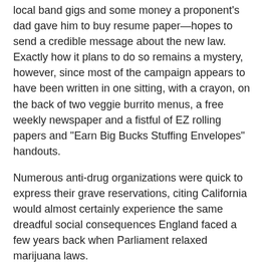local band gigs and some money a proponent's dad gave him to buy resume paper—hopes to send a credible message about the new law. Exactly how it plans to do so remains a mystery, however, since most of the campaign appears to have been written in one sitting, with a crayon, on the back of two veggie burrito menus, a free weekly newspaper and a fistful of EZ rolling papers and "Earn Big Bucks Stuffing Envelopes" handouts.
Numerous anti-drug organizations were quick to express their grave reservations, citing California would almost certainly experience the same dreadful social consequences England faced a few years back when Parliament relaxed marijuana laws.
"No one ever remembers to return a phone call in Britain anymore," said Tim Riley, a spokesman for Drug Free America Inc. "Neighbors go on and on about how beautiful some stupid moth they saw three weeks ago was. Television viewers think the characters on Coronation Street are actually watching them instead. And just try to find an unopened bag of crisps in that country."